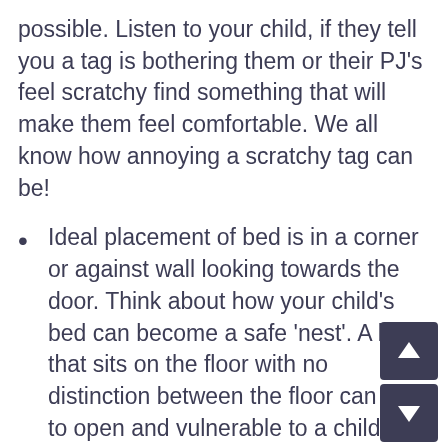possible. Listen to your child, if they tell you a tag is bothering them or their PJ's feel scratchy find something that will make them feel comfortable. We all know how annoying a scratchy tag can be!
Ideal placement of bed is in a corner or against wall looking towards the door. Think about how your child's bed can become a safe 'nest'. A bed that sits on the floor with no distinction between the floor can feel to open and vulnerable to a child.
Try lavender or vanilla essential oils (therapeutic grade) to assist with sleep